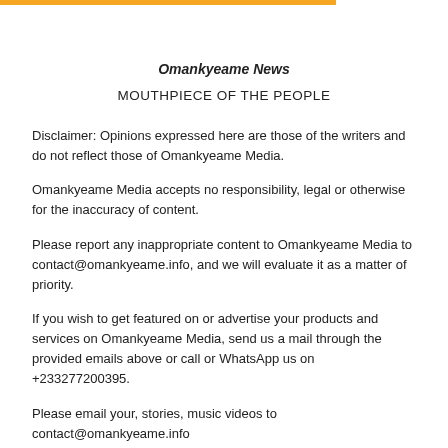Omankyeame News
MOUTHPIECE OF THE PEOPLE
Disclaimer: Opinions expressed here are those of the writers and do not reflect those of Omankyeame Media.
Omankyeame Media accepts no responsibility, legal or otherwise for the inaccuracy of content.
Please report any inappropriate content to Omankyeame Media to contact@omankyeame.info, and we will evaluate it as a matter of priority.
If you wish to get featured on or advertise your products and services on Omankyeame Media, send us a mail through the provided emails above or call or WhatsApp us on +233277200395.
Please email your, stories, music videos to contact@omankyeame.info